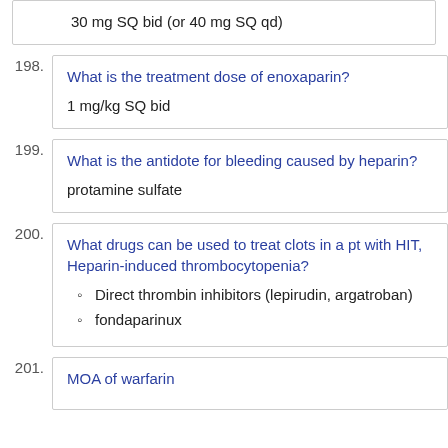30 mg SQ bid (or 40 mg SQ qd)
198. What is the treatment dose of enoxaparin?
1 mg/kg SQ bid
199. What is the antidote for bleeding caused by heparin?
protamine sulfate
200. What drugs can be used to treat clots in a pt with HIT, Heparin-induced thrombocytopenia?
Direct thrombin inhibitors (lepirudin, argatroban)
fondaparinux
201. MOA of warfarin